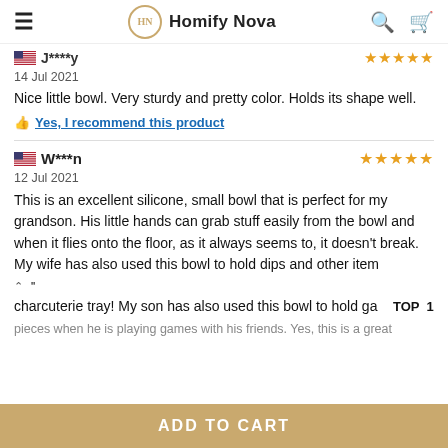Homify Nova
J****y
14 Jul 2021
Nice little bowl. Very sturdy and pretty color. Holds its shape well.
Yes, I recommend this product
W***n
12 Jul 2021
This is an excellent silicone, small bowl that is perfect for my grandson. His little hands can grab stuff easily from the bowl and when it flies onto the floor, as it always seems to, it doesn't break. My wife has also used this bowl to hold dips and other item charcuterie tray! My son has also used this bowl to hold ga pieces when he is playing games with his friends. Yes, this is a great
ADD TO CART